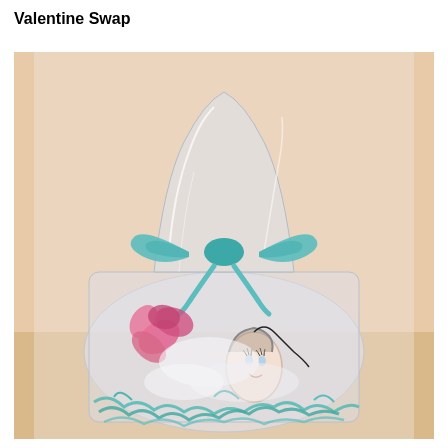Valentine Swap
[Figure (photo): A clear cellophane gift bag tied with a light blue ribbon bow, containing pink fabric flowers, a decorated egg ornament, and teal paper shreds at the bottom, displayed against a light peach/tan background.]